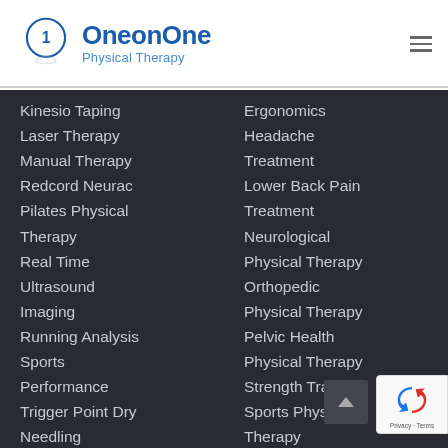[Figure (logo): One on One Physical Therapy logo with circle containing number 1]
Kinesio Taping
Laser Therapy
Manual Therapy
Redcord Neurac
Pilates Physical Therapy
Real Time Ultrasound Imaging
Running Analysis
Sports Performance
Trigger Point Dry Needling
Whole Body
Ergonomics
Headache Treatment
Lower Back Pain Treatment
Neurological Physical Therapy
Orthopedic Physical Therapy
Pelvic Health Physical Therapy
Strength Training
Sports Physical Therapy
Tennis Injuries
TMJ Performance